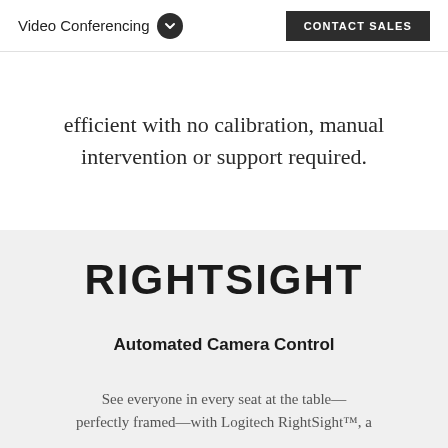Video Conferencing   CONTACT SALES
efficient with no calibration, manual intervention or support required.
RIGHTSIGHT
Automated Camera Control
See everyone in every seat at the table—perfectly framed—with Logitech RightSight™, a